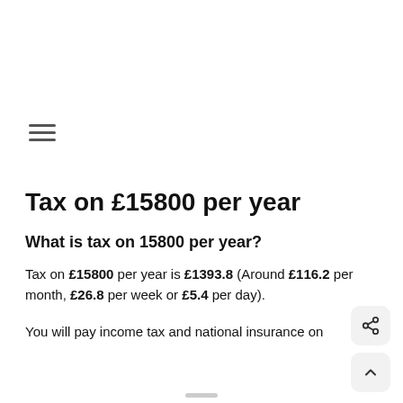[Figure (other): Hamburger menu icon with three horizontal lines]
Tax on £15800 per year
What is tax on 15800 per year?
Tax on £15800 per year is £1393.8 (Around £116.2 per month, £26.8 per week or £5.4 per day).
You will pay income tax and national insurance on